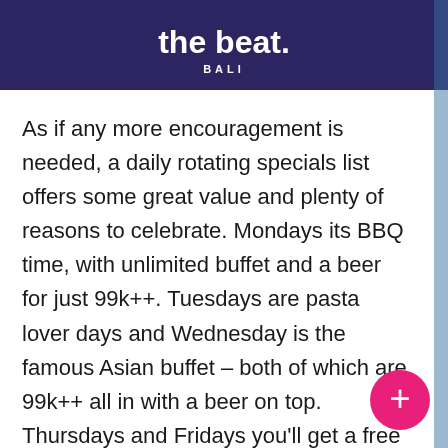the beat. BALI
As if any more encouragement is needed, a daily rotating specials list offers some great value and plenty of reasons to celebrate. Mondays its BBQ time, with unlimited buffet and a beer for just 99k++. Tuesdays are pasta lover days and Wednesday is the famous Asian buffet – both of which are 99k++ all in with a beer on top. Thursdays and Fridays you'll get a free cocktail with your dinner, and on Saturdays it's all about Indonesian with specials on the best local-style fare. Polishing off the week is the Lazy Sunday promo, where all pizzas are 25% off. Meanwhile keep an ear out for live acoustic performances